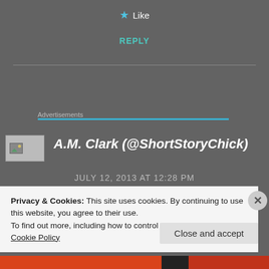★ Like
REPLY
Advertisements
[Figure (photo): Profile picture placeholder with landscape image icon]
A.M. Clark (@ShortStoryChick)
JULY 12, 2013 AT 12:28 PM
Privacy & Cookies: This site uses cookies. By continuing to use this website, you agree to their use.
To find out more, including how to control cookies, see here: Cookie Policy
Close and accept